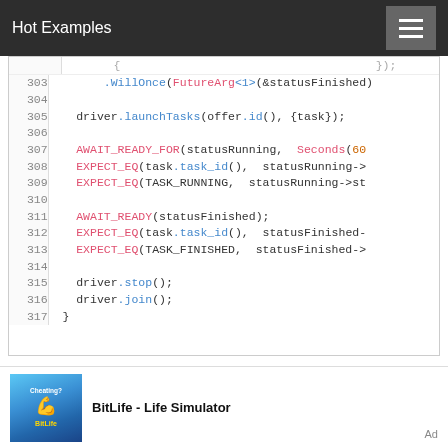Hot Examples
[Figure (screenshot): Code snippet showing C++ driver/task test code, lines 303-317, with syntax highlighting. Lines show .WillOnce(FutureArg<1>(&statusFinished)), driver.launchTasks(...), AWAIT_READY_FOR, EXPECT_EQ, AWAIT_READY, driver.stop(), driver.join(), closing brace.]
[Figure (other): BitLife - Life Simulator app advertisement with blue app icon showing cartoon character.]